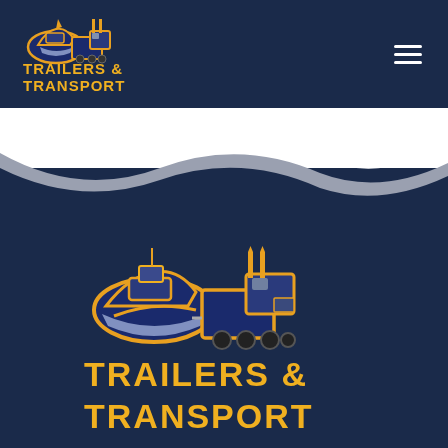[Figure (logo): Trailers & Transport logo in header: boat and truck illustration with yellow bold text 'TRAILERS & TRANSPORT' on dark navy background]
[Figure (illustration): Wave divider graphic — white upper area transitioning into dark navy lower area with a gray wave shape]
[Figure (logo): Large Trailers & Transport logo centered at bottom of page: boat and truck illustration with yellow bold text 'TRAILERS & TRANSPORT' on dark navy background, partially cut off]